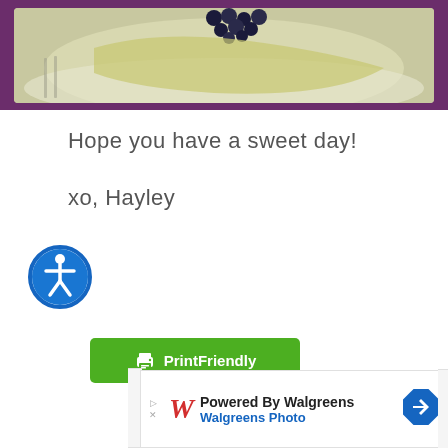[Figure (photo): Partial view of a food photo showing what appears to be fruit (blueberries on pale/cream colored food) with a purple/mauve border frame]
Hope you have a sweet day!
xo, Hayley
[Figure (other): Blue circle accessibility icon with a person/wheelchair symbol in white]
[Figure (other): Green PrintFriendly button with printer icon]
[Figure (other): Walgreens Photo advertisement banner reading 'Powered By Walgreens / Walgreens Photo' with the Walgreens W logo and a blue navigation arrow]